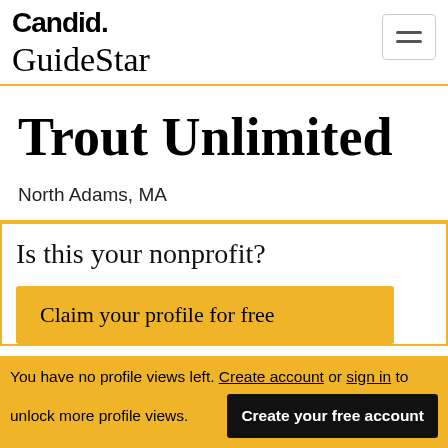Candid. GuideStar
Trout Unlimited
North Adams, MA
Is this your nonprofit?
Claim your profile for free
You have no profile views left. Create account or sign in to unlock more profile views.
Create your free account